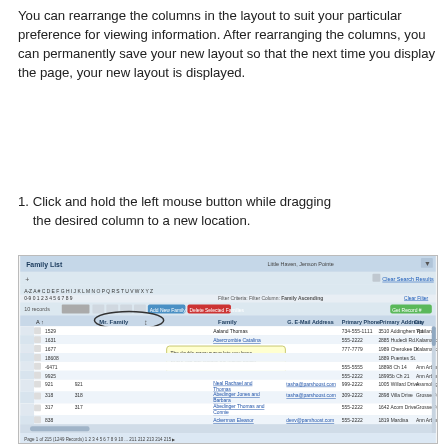You can rearrange the columns in the layout to suit your particular preference for viewing information. After rearranging the columns, you can permanently save your new layout so that the next time you display the page, your new layout is displayed.
1. Click and hold the left mouse button while dragging the desired column to a new location.
[Figure (screenshot): Screenshot of a 'Family List' application interface showing a data grid with columns for #, Family, E-Mail Address, Primary Phone, Primary Address, and City. A cursor icon is shown dragging the 'Mr. Family' column header, with a tooltip reading 'The double arrow cursor lets you know where you can release the mouse button to relocate the column.' Several family records are visible in the grid.]